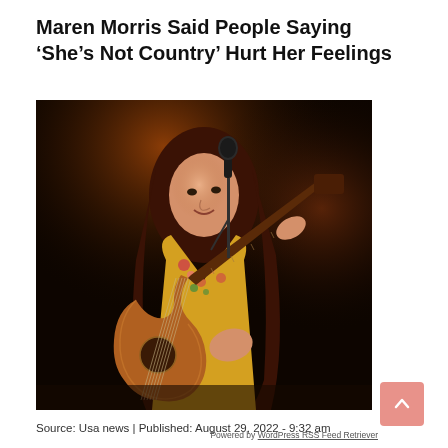Maren Morris Said People Saying ‘She’s Not Country’ Hurt Her Feelings
[Figure (photo): Maren Morris performing on stage, playing an acoustic guitar and singing into a microphone. She is wearing a yellow floral top. The background is dark.]
Source: Usa news | Published: August 29, 2022 - 9:32 am